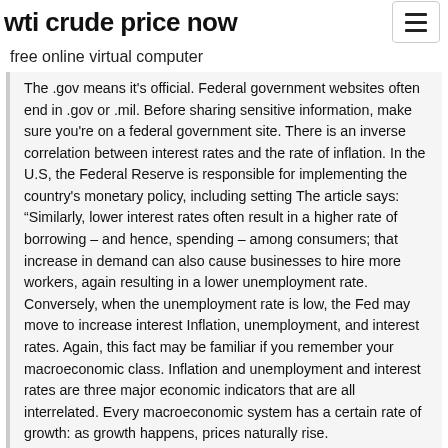wti crude price now
free online virtual computer
The .gov means it's official. Federal government websites often end in .gov or .mil. Before sharing sensitive information, make sure you're on a federal government site. There is an inverse correlation between interest rates and the rate of inflation. In the U.S, the Federal Reserve is responsible for implementing the country's monetary policy, including setting The article says: “Similarly, lower interest rates often result in a higher rate of borrowing – and hence, spending – among consumers; that increase in demand can also cause businesses to hire more workers, again resulting in a lower unemployment rate. Conversely, when the unemployment rate is low, the Fed may move to increase interest Inflation, unemployment, and interest rates. Again, this fact may be familiar if you remember your macroeconomic class. Inflation and unemployment and interest rates are three major economic indicators that are all interrelated. Every macroeconomic system has a certain rate of growth: as growth happens, prices naturally rise.